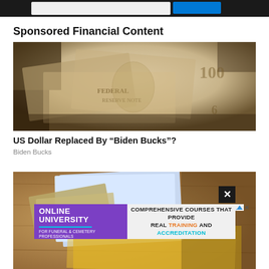Sponsored Financial Content
[Figure (photo): Close-up photograph of US dollar bills scattered on a surface, sepia/grayscale toned image showing currency details]
US Dollar Replaced By “Biden Bucks”?
Biden Bucks
[Figure (photo): Photo of money/currency on a wooden surface, partially visible, with an advertisement overlay banner for Online University and a close button (X)]